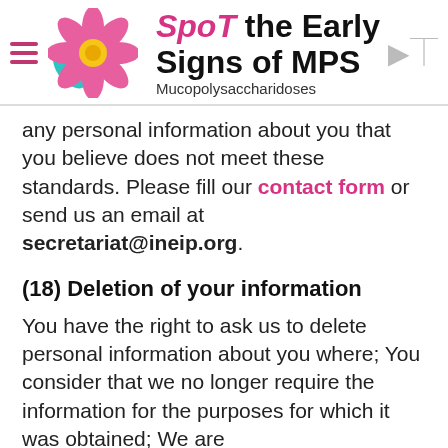[Figure (logo): Spot the Early Signs of MPS logo with a pink dahlia flower and teal leaf, hamburger menu icon on the left, and arrow icon on the right]
any personal information about you that you believe does not meet these standards. Please fill our contact form or send us an email at secretariat@ineip.org.
(18) Deletion of your information
You have the right to ask us to delete personal information about you where; You consider that we no longer require the information for the purposes for which it was obtained; We are